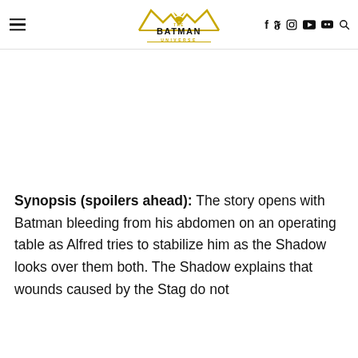The Batman Universe — navigation header with hamburger menu, logo, social icons (f, twitter, instagram, youtube, discord, search)
Synopsis (spoilers ahead): The story opens with Batman bleeding from his abdomen on an operating table as Alfred tries to stabilize him as the Shadow looks over them both. The Shadow explains that wounds caused by the Stag do not